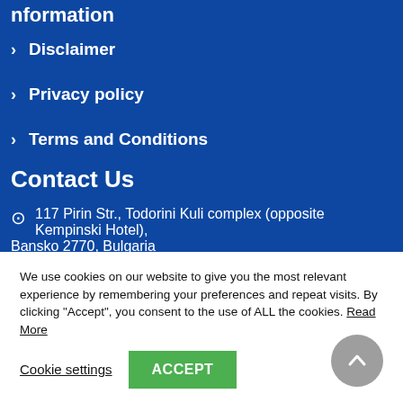Information
Disclaimer
Privacy policy
Terms and Conditions
Contact Us
117 Pirin Str., Todorini Kuli complex (opposite Kempinski Hotel), Bansko 2770, Bulgaria
We use cookies on our website to give you the most relevant experience by remembering your preferences and repeat visits. By clicking "Accept", you consent to the use of ALL the cookies. Read More
Cookie settings
ACCEPT